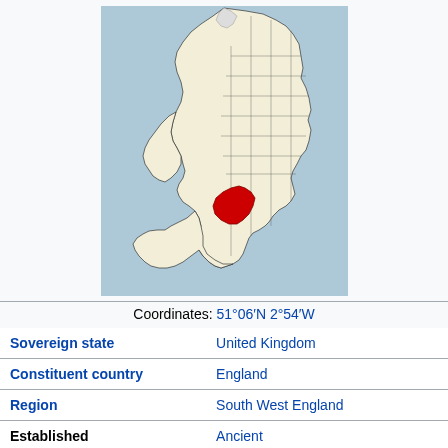[Figure (map): Map of England with a red highlighted region showing Somerset/Bath area in the South West, surrounded by blue sea and county boundaries on a cream background.]
Coordinates: 51°06′N 2°54′W
| Sovereign state | United Kingdom |
| Constituent country | England |
| Region | South West England |
| Established | Ancient |
| Time zone | UTC±00:00 (Greenwich Mean Time) |
| • Summer (DST) | UTC+01:00 (British Summer Time) |
| Members of Parliament | Robert Bos (?) |